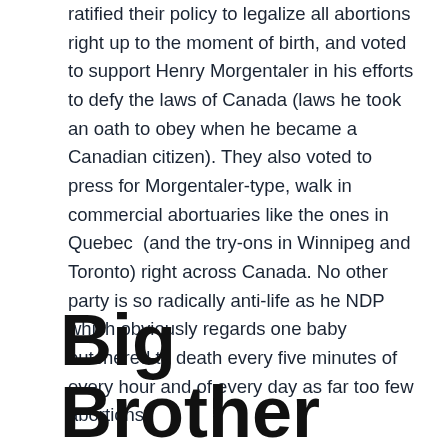ratified their policy to legalize all abortions right up to the moment of birth, and voted to support Henry Morgentaler in his efforts to defy the laws of Canada (laws he took an oath to obey when he became a Canadian citizen). They also voted to press for Morgentaler-type, walk in commercial abortuaries like the ones in Quebec (and the try-ons in Winnipeg and Toronto) right across Canada. No other party is so radically anti-life as he NDP which obviously regards one baby butchered to death every five minutes of every hour and of every day as far too few abortions.
Big Brother